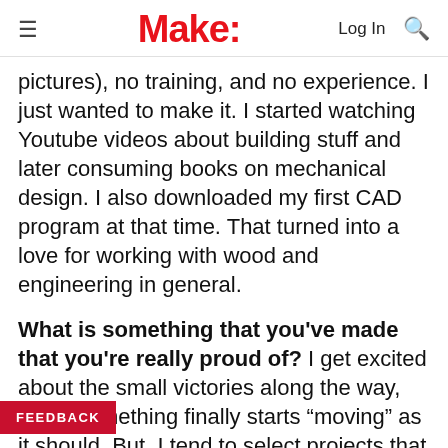Make:
pictures), no training, and no experience. I just wanted to make it. I started watching Youtube videos about building stuff and later consuming books on mechanical design. I also downloaded my first CAD program at that time. That turned into a love for working with wood and engineering in general.
What is something that you've made that you're really proud of? I get excited about the small victories along the way, when something finally starts “moving” as it should. But, I tend to select projects that push all my limits and often involve a new skill as well: Programming, for example, on my CNC table saw. By the time I finish the “thing,”, I am never really proud as much as relieved it finally works! I usually walk away